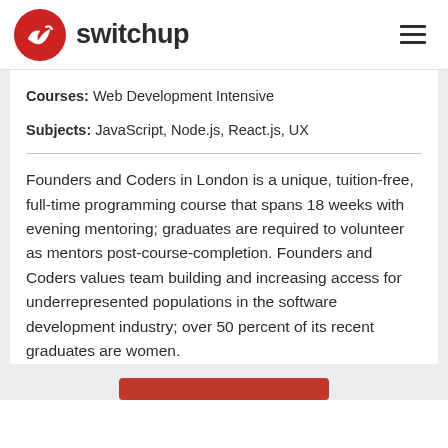switchup
Courses: Web Development Intensive
Subjects: JavaScript, Node.js, React.js, UX
Founders and Coders in London is a unique, tuition-free, full-time programming course that spans 18 weeks with evening mentoring; graduates are required to volunteer as mentors post-course-completion. Founders and Coders values team building and increasing access for underrepresented populations in the software development industry; over 50 percent of its recent graduates are women.